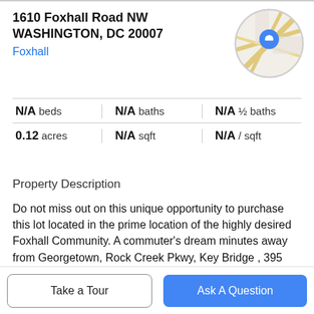1610 Foxhall Road NW
WASHINGTON, DC 20007
Foxhall
[Figure (map): Circular map thumbnail showing street map with a blue location pin marker]
| Stat | Value |
| --- | --- |
| N/A beds | N/A baths | N/A ½ baths |
| 0.12 acres | N/A sqft | N/A / sqft |
Property Description
Do not miss out on this unique opportunity to purchase this lot located in the prime location of the highly desired Foxhall Community. A commuter's dream minutes away from Georgetown, Rock Creek Pkwy, Key Bridge , 395 and the Beltway and other commuter routes. Previously there